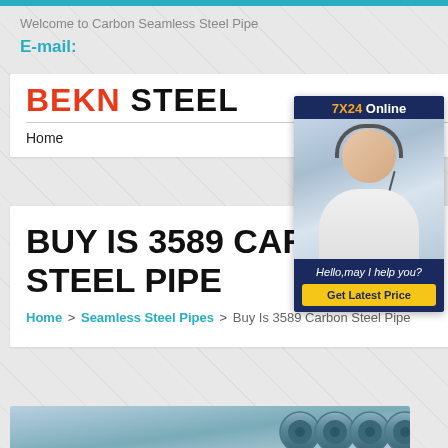Welcome to Carbon Seamless Steel Pipe
E-mail:
BEKN STEEL
Home
BUY IS 3589 CARBON STEEL PIPE
Home > Seamless Steel Pipes > Buy Is 3589 Carbon Steel Pipe
[Figure (photo): Customer service representative with headset, 7X24 Online chat widget with Get Latest Price button]
[Figure (photo): Blue carbon steel pipes stacked together, product image at bottom of page]